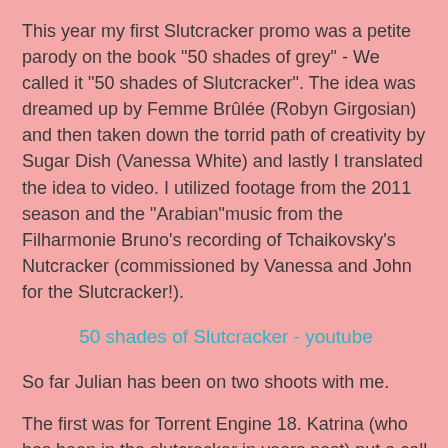This year my first Slutcracker promo was a petite parody on the book "50 shades of grey" - We called it "50 shades of Slutcracker". The idea was dreamed up by Femme Brûlée (Robyn Girgosian) and then taken down the torrid path of creativity by Sugar Dish (Vanessa White) and lastly I translated the idea to video. I utilized footage from the 2011 season and the "Arabian"music from the Filharmonie Bruno's recording of Tchaikovsky's Nutcracker (commissioned by Vanessa and John for the Slutcracker!).
50 shades of Slutcracker - youtube
So far Julian has been on two shoots with me.
The first was for Torrent Engine 18. Katrina (who has been in the slutcracker in years past) put a call out for assistance after the filmmaker who was going to make their kickstarter video had his footage erased at an airport by customs. Maya Landi, Julian and I went to meet Katrina and E. Stephen at the firehouse. I shot the video with Julian in the baby bjorn that Femme Brûlée gave me (Awesome gift! Thank you!).